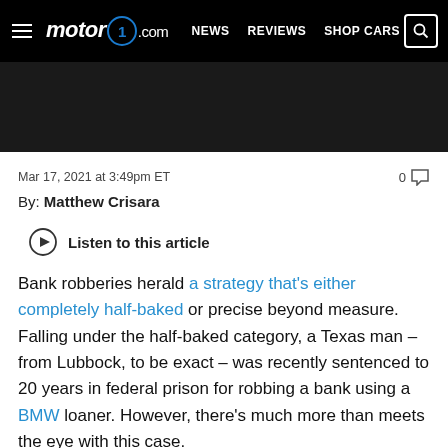motor1.com — NEWS  REVIEWS  SHOP CARS
[Figure (photo): Dark/black image strip, partial photo of a car]
Mar 17, 2021 at 3:49pm ET
0 comments
By: Matthew Crisara
Listen to this article
Bank robberies herald a strategy that's either completely half-baked or precise beyond measure. Falling under the half-baked category, a Texas man – from Lubbock, to be exact – was recently sentenced to 20 years in federal prison for robbing a bank using a BMW loaner. However, there's much more than meets the eye with this case.